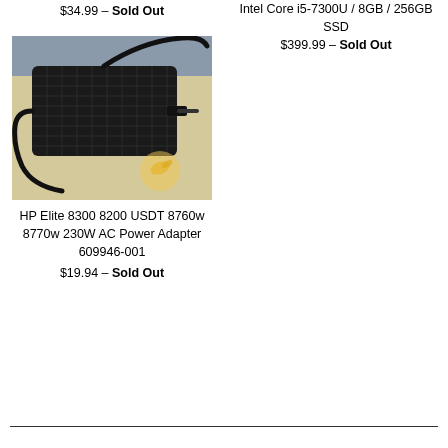$34.99 – Sold Out
Intel Core i5-7300U / 8GB / 256GB SSD
$399.99 – Sold Out
[Figure (photo): HP power adapter/AC adapter, black rectangular brick with cables, on a light wooden surface with a watermark logo]
HP Elite 8300 8200 USDT 8760w 8770w 230W AC Power Adapter 609946-001
$19.94 – Sold Out